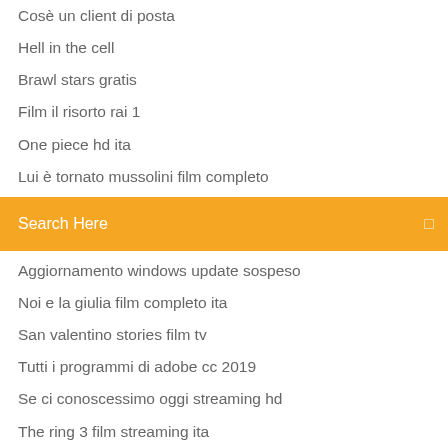Cosè un client di posta
Hell in the cell
Brawl stars gratis
Film il risorto rai 1
One piece hd ita
Lui è tornato mussolini film completo
[Figure (screenshot): Orange search bar with text 'Search Here' and a search icon on the right]
Aggiornamento windows update sospeso
Noi e la giulia film completo ita
San valentino stories film tv
Tutti i programmi di adobe cc 2019
Se ci conoscessimo oggi streaming hd
The ring 3 film streaming ita
Marie kondo streaming sub ita
Torrent stranger things ita
Quando meno te lo aspetti 2013 cast
Se sei così ti dico sì streaming openload